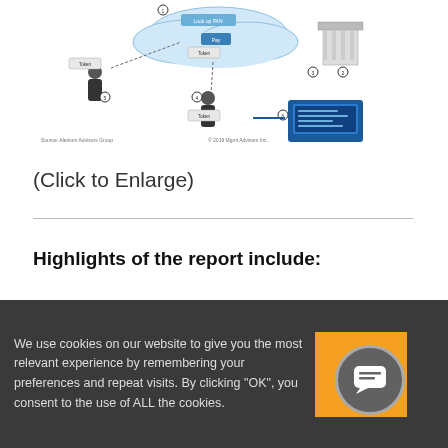[Figure (schematic): Diagram showing mobile payment flow with numbered steps, people figures, tokens, arrows, and a cloud in the center. Source: Alenium Advisors Group.]
(Click to Enlarge)
Highlights of the report include:
A taxonomy and definition for mobile payments that includes m-
We use cookies on our website to give you the most relevant experience by remembering your preferences and repeat visits. By clicking "OK", you consent to the use of ALL the cookies.